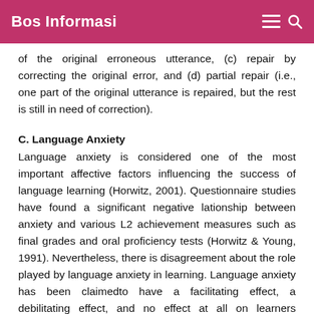Bos Informasi
of the original erroneous utterance, (c) repair by correcting the original error, and (d) partial repair (i.e., one part of the original utterance is repaired, but the rest is still in need of correction).
C. Language Anxiety
Language anxiety is considered one of the most important affective factors influencing the success of language learning (Horwitz, 2001). Questionnaire studies have found a significant negative lationship between anxiety and various L2 achievement measures such as final grades and oral proficiency tests (Horwitz & Young, 1991). Nevertheless, there is disagreement about the role played by language anxiety in learning. Language anxiety has been claimedto have a facilitating effect, a debilitating effect, and no effect at all on learners performance and L2 achievement (D¨ ornyei, 2005).